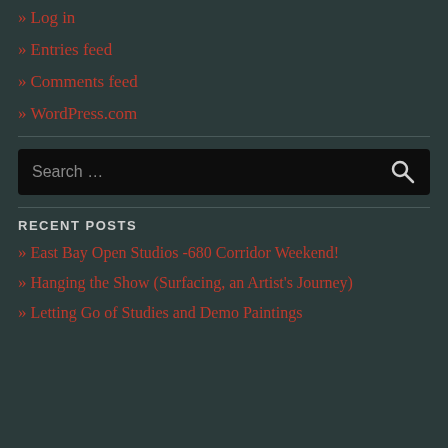» Log in
» Entries feed
» Comments feed
» WordPress.com
[Figure (other): Search box with placeholder text 'Search ...' and a search magnifying glass icon on dark background]
RECENT POSTS
» East Bay Open Studios -680 Corridor Weekend!
» Hanging the Show (Surfacing, an Artist's Journey)
» Letting Go of Studies and Demo Paintings